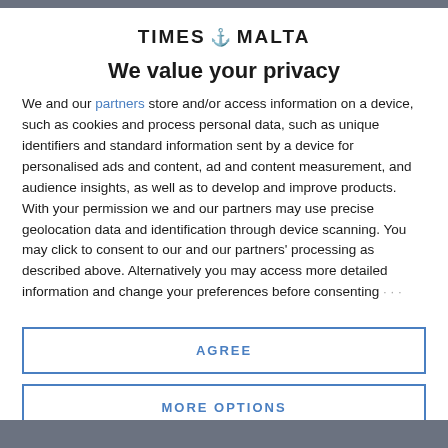[Figure (logo): Times of Malta logo with torch/goblet icon between TIMES and MALTA text]
We value your privacy
We and our partners store and/or access information on a device, such as cookies and process personal data, such as unique identifiers and standard information sent by a device for personalised ads and content, ad and content measurement, and audience insights, as well as to develop and improve products. With your permission we and our partners may use precise geolocation data and identification through device scanning. You may click to consent to our and our partners' processing as described above. Alternatively you may access more detailed information and change your preferences before consenting
AGREE
MORE OPTIONS